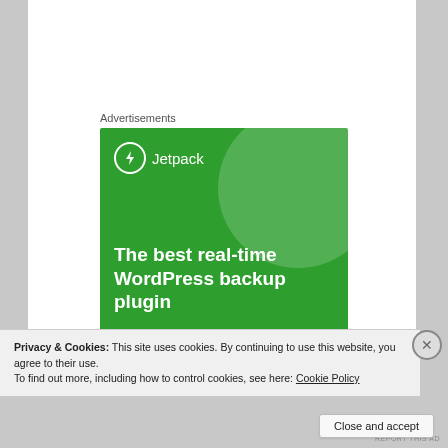[Figure (photo): Mosaic tile artwork showing decorative patterns in earth tones, browns, and oranges — partial view cropped at top of page]
Advertisements
[Figure (illustration): Jetpack advertisement banner with green background. Shows Jetpack logo (lightning bolt in circle) and text: 'The best real-time WordPress backup plugin' with a 'Back up your site' button.]
Privacy & Cookies: This site uses cookies. By continuing to use this website, you agree to their use.
To find out more, including how to control cookies, see here: Cookie Policy
Close and accept